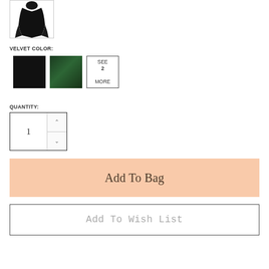[Figure (photo): Small product thumbnail showing a dark garment (appears to be a black velvet robe or cape)]
VELVET COLOR:
[Figure (other): Color swatches: black velvet swatch, dark green velvet swatch, and a 'SEE 2 MORE' button]
QUANTITY:
[Figure (other): Quantity input box showing value 1 with up/down arrow controls]
Add To Bag
Add To Wish List